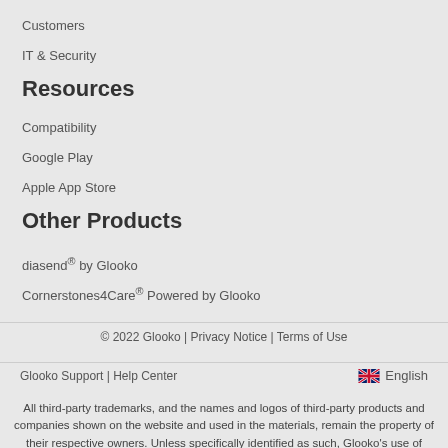Customers
IT & Security
Resources
Compatibility
Google Play
Apple App Store
Other Products
diasend® by Glooko
Cornerstones4Care® Powered by Glooko
© 2022 Glooko | Privacy Notice | Terms of Use
Glooko Support | Help Center      English
All third-party trademarks, and the names and logos of third-party products and companies shown on the website and used in the materials, remain the property of their respective owners. Unless specifically identified as such, Glooko's use of third-party names, logos or trademarks does not indicate any relationship, sponsorship of